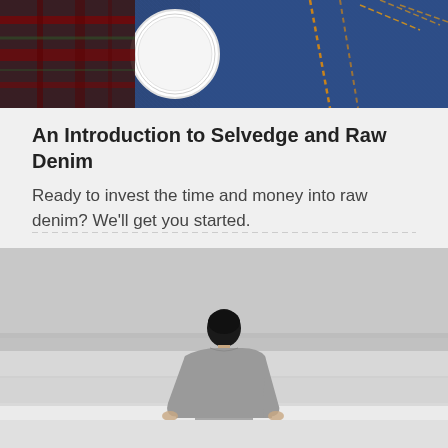[Figure (photo): Close-up photo of blue selvedge denim jeans fabric showing orange stitching, a white circular patch or label, and a plaid/tartan patch with red and dark colors.]
An Introduction to Selvedge and Raw Denim
Ready to invest the time and money into raw denim? We'll get you started.
[Figure (photo): Photo of a person viewed from behind, sitting or standing at a beach or coastal horizon, wearing a grey t-shirt, with a grey sky and calm water in the background.]